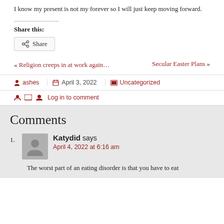I know my present is not my forever so I will just keep moving forward.
Share this:
[Figure (other): Share button with share icon]
« Religion creeps in at work again…       Secular Easter Plans »
ashes   April 3, 2022   Uncategorized
Log in to comment
Comments
Katydid says
April 4, 2022 at 6:16 am
The worst part of an eating disorder is that you have to eat